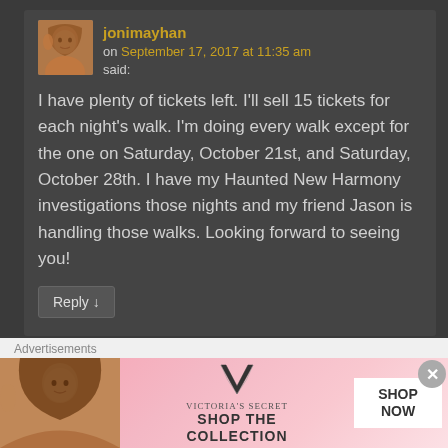jonimayhan
on September 17, 2017 at 11:35 am said:
I have plenty of tickets left. I'll sell 15 tickets for each night's walk. I'm doing every walk except for the one on Saturday, October 21st, and Saturday, October 28th. I have my Haunted New Harmony investigations those nights and my friend Jason is handling those walks. Looking forward to seeing you!
Reply ↓
Advertisements
[Figure (photo): Victoria's Secret advertisement banner with woman model, VS logo, 'SHOP THE COLLECTION' text, and 'SHOP NOW' button]